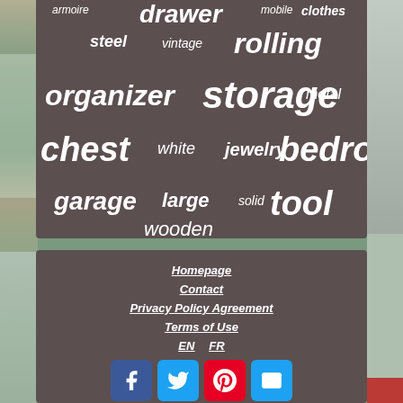[Figure (infographic): Word cloud on dark brown/taupe background with furniture/storage related words: armoire, drawer, mobile, clothes, steel, vintage, rolling, organizer, storage, metal, chest, white, jewelry, bedroom, garage, large, solid, tool, wooden. Words vary in size indicating frequency/importance.]
armoire
drawer
mobile
clothes
steel
vintage
rolling
organizer
storage
metal
chest
white
jewelry
bedroom
garage
large
solid
tool
wooden
Homepage | Contact | Privacy Policy Agreement | Terms of Use | EN | FR